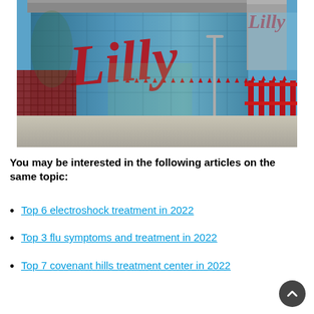[Figure (photo): Photograph of an Eli Lilly pharmaceutical company building with large red cursive 'Lilly' logo on glass facade, red metal gate and fence in foreground, blue sky background.]
You may be interested in the following articles on the same topic:
Top 6 electroshock treatment in 2022
Top 3 flu symptoms and treatment in 2022
Top 7 covenant hills treatment center in 2022